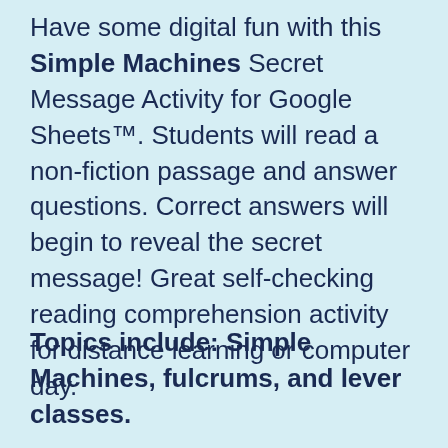Have some digital fun with this Simple Machines Secret Message Activity for Google Sheets™. Students will read a non-fiction passage and answer questions. Correct answers will begin to reveal the secret message! Great self-checking reading comprehension activity for distance learning or computer day.
Topics include: Simple Machines, fulcrums, and lever classes.